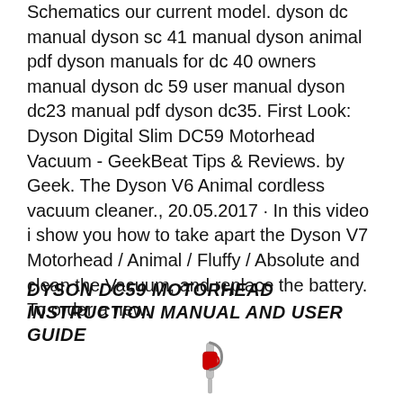Schematics our current model. dyson dc manual dyson sc 41 manual dyson animal pdf dyson manuals for dc 40 owners manual dyson dc 59 user manual dyson dc23 manual pdf dyson dc35. First Look: Dyson Digital Slim DC59 Motorhead Vacuum - GeekBeat Tips & Reviews. by Geek. The Dyson V6 Animal cordless vacuum cleaner., 20.05.2017 · In this video i show you how to take apart the Dyson V7 Motorhead / Animal / Fluffy / Absolute and clean the Vacuum, and replace the battery. To order a new.
DYSON DC59 MOTORHEAD INSTRUCTION MANUAL AND USER GUIDE
[Figure (photo): Black header bar followed by a Dyson vacuum cleaner image (red and grey cordless stick vacuum) visible at the bottom of the page]